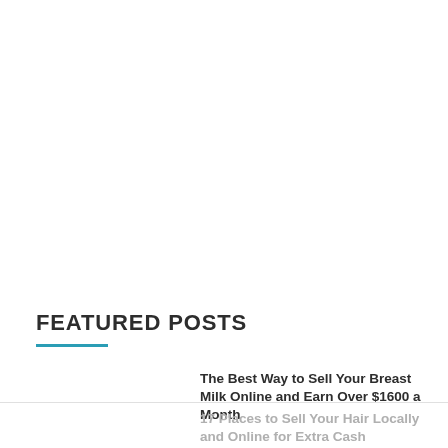FEATURED POSTS
The Best Way to Sell Your Breast Milk Online and Earn Over $1600 a Month
17 Places to Sell Your Hair Locally and Online for Extra Cash